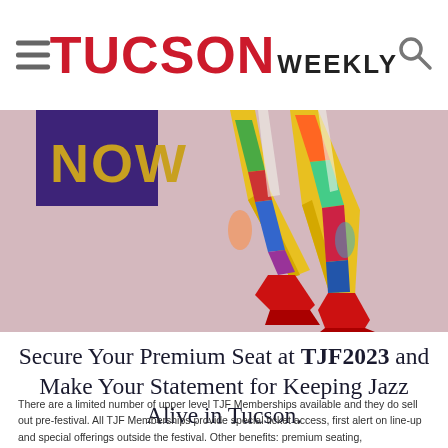TUCSON WEEKLY
[Figure (illustration): Colorful pop-art style illustration of a jazz dancer's legs in vibrant multi-colored pants and red shoes on a pink/mauve background, with a purple rectangle showing 'NOW' in gold letters]
Secure Your Premium Seat at TJF2023 and Make Your Statement for Keeping Jazz Alive in Tucson.
There are a limited number of upper level TJF Memberships available and they do sell out pre-festival. All TJF Memberships provide special ticket access, first alert on line-up and special offerings outside the festival. Other benefits: premium seating,